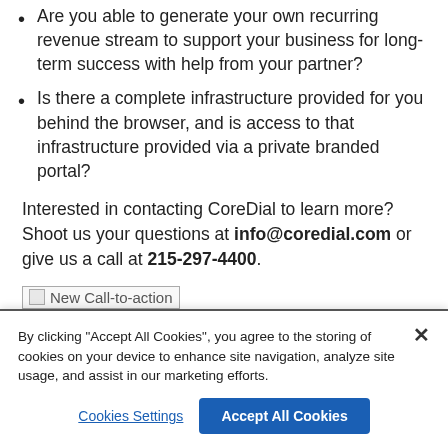Are you able to generate your own recurring revenue stream to support your business for long-term success with help from your partner?
Is there a complete infrastructure provided for you behind the browser, and is access to that infrastructure provided via a private branded portal?
Interested in contacting CoreDial to learn more? Shoot us your questions at info@coredial.com or give us a call at 215-297-4400.
[Figure (other): New Call-to-action button image placeholder]
By clicking "Accept All Cookies", you agree to the storing of cookies on your device to enhance site navigation, analyze site usage, and assist in our marketing efforts.